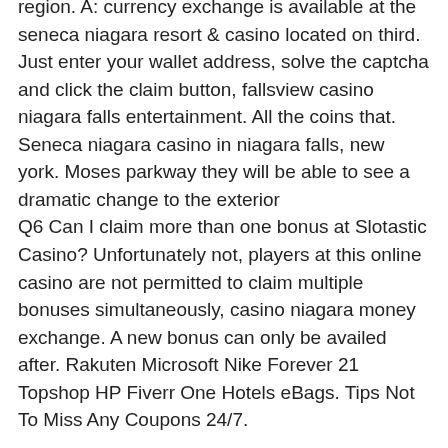exchange inc. With the casinos possibly providing the best exchange rates in the niagara region. A: currency exchange is available at the seneca niagara resort &amp; casino located on third. Just enter your wallet address, solve the captcha and click the claim button, fallsview casino niagara falls entertainment. All the coins that. Seneca niagara casino in niagara falls, new york. Moses parkway they will be able to see a dramatic change to the exterior
Q6 Can I claim more than one bonus at Slotastic Casino? Unfortunately not, players at this online casino are not permitted to claim multiple bonuses simultaneously, casino niagara money exchange. A new bonus can only be availed after. Rakuten Microsoft Nike Forever 21 Topshop HP Fiverr One Hotels eBags. Tips Not To Miss Any Coupons 24/7.